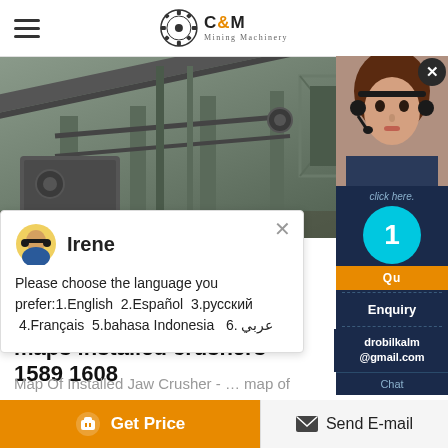C&M Mining Machinery
[Figure (photo): Industrial mining crusher machinery with conveyor belts and steel framework, outdoor industrial setting]
Irene
Please choose the language you prefer:1.English  2.Español  3.русский  4.Français  5.bahasa Indonesia  6. عربي
[Figure (photo): Woman wearing headset, customer service representative]
maps installed crushers 1589 1608
Map Of Installed Jaw Crusher - … map of crusher in iraq. ... maps installed crushers
click here.
1
Qu
Enquiry
drobilkalm@gmail.com
Chat
Get Price  Send E-mail